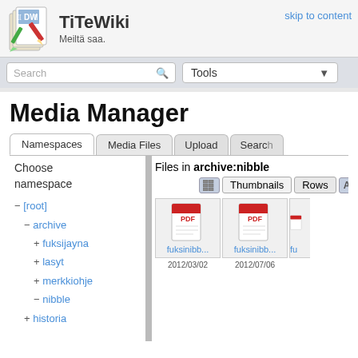TiTeWiki — Meiltä saa. skip to content
Search | Tools
Media Manager
Namespaces | Media Files | Upload | Search
Files in archive:nibble
Thumbnails | Rows
− [root]
− archive
+ fuksijayna
+ lasyt
+ merkkiohje
− nibble
+ historia
[Figure (screenshot): PDF file thumbnail: fuksinibb...]
[Figure (screenshot): PDF file thumbnail: fuksinibb...]
fuksinibb...
fuksinibb...
2012/03/02
2012/07/06